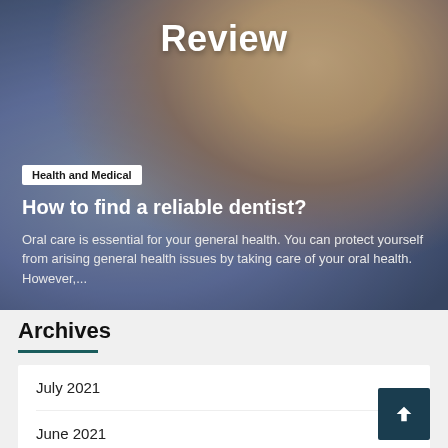[Figure (photo): Hero image of a dentist in blue gloves treating a patient with blonde hair, overlaid with dark gradient. Large white 'Review' title at top.]
Review
Health and Medical
How to find a reliable dentist?
Oral care is essential for your general health. You can protect yourself from arising general health issues by taking care of your oral health. However,...
Archives
July 2021
June 2021
December 2020
May 2020